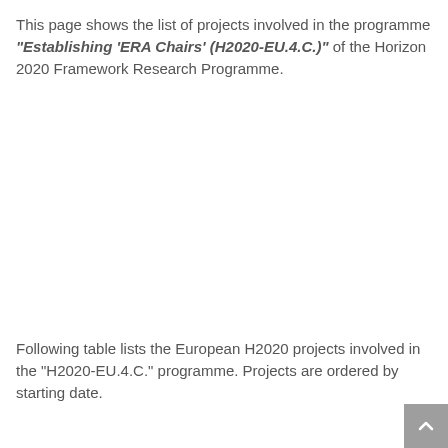This page shows the list of projects involved in the programme "Establishing 'ERA Chairs' (H2020-EU.4.C.)" of the Horizon 2020 Framework Research Programme.
Following table lists the European H2020 projects involved in the "H2020-EU.4.C." programme. Projects are ordered by starting date.